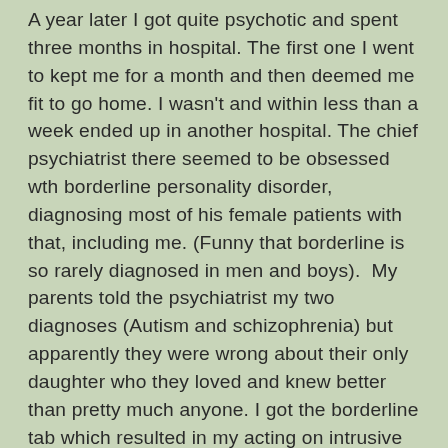A year later I got quite psychotic and spent three months in hospital. The first one I went to kept me for a month and then deemed me fit to go home. I wasn't and within less than a week ended up in another hospital. The chief psychiatrist there seemed to be obsessed wth borderline personality disorder, diagnosing most of his female patients with that, including me. (Funny that borderline is so rarely diagnosed in men and boys).  My parents told the psychiatrist my two diagnoses (Autism and schizophrenia) but apparently they were wrong about their only daughter who they loved and knew better than pretty much anyone. I got the borderline tab which resulted in my acting on intrusive thoughts about violence being seen as attention seeking and manipulative. I ended up in prison, then became so institutionalised and hopeless that I probably would have liked to be 'reliable' Jeanette in the kitchen of the asylum, safe from terrifying freedom. I managed through a combination of my own  determination, faith, parental love and a good whack of luck to escape that